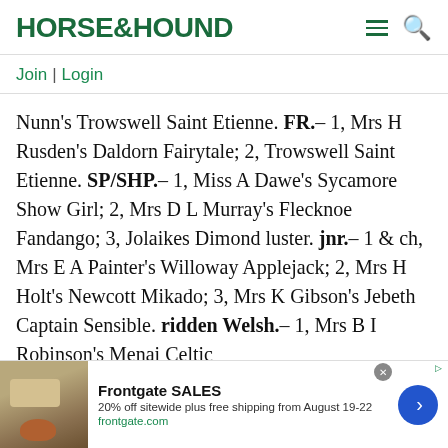HORSE&HOUND
Join | Login
Nunn's Trowswell Saint Etienne. FR.– 1, Mrs H Rusden's Daldorn Fairytale; 2, Trowswell Saint Etienne. SP/SHP.– 1, Miss A Dawe's Sycamore Show Girl; 2, Mrs D L Murray's Flecknoe Fandango; 3, Jolaikes Dimond luster. jnr.– 1 & ch, Mrs E A Painter's Willoway Applejack; 2, Mrs H Holt's Newcott Mikado; 3, Mrs K Gibson's Jebeth Captain Sensible. ridden Welsh.– 1, Mrs B I Robinson's Menai Celtic
[Figure (other): Advertisement for Frontgate SALES: 20% off sitewide plus free shipping from August 19-22. frontgate.com. Shows outdoor furniture with fire pit.]